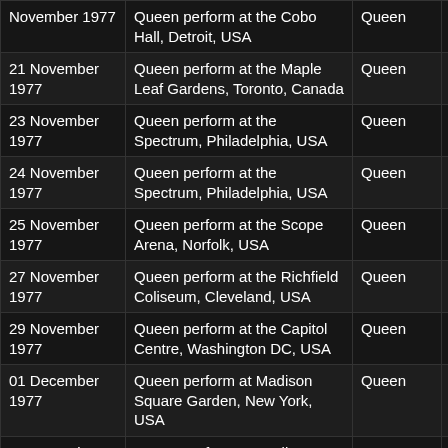| Date | Event | Artist | Type |
| --- | --- | --- | --- |
| November 1977 | Queen perform at the Cobo Hall, Detroit, USA | Queen | Concert |
| 21 November 1977 | Queen perform at the Maple Leaf Gardens, Toronto, Canada | Queen | Concert |
| 23 November 1977 | Queen perform at the Spectrum, Philadelphia, USA | Queen | Concert |
| 24 November 1977 | Queen perform at the Spectrum, Philadelphia, USA | Queen | Concert |
| 25 November 1977 | Queen perform at the Scope Arena, Norfolk, USA | Queen | Concert |
| 27 November 1977 | Queen perform at the Richfield Coliseum, Cleveland, USA | Queen | Concert |
| 29 November 1977 | Queen perform at the Capitol Centre, Washington DC, USA | Queen | Concert |
| 01 December 1977 | Queen perform at Madison Square Garden, New York, USA | Queen | Concert |
| 02 December 1977 | Queen perform at Madison Square Garden, New York, USA | Queen | Concert |